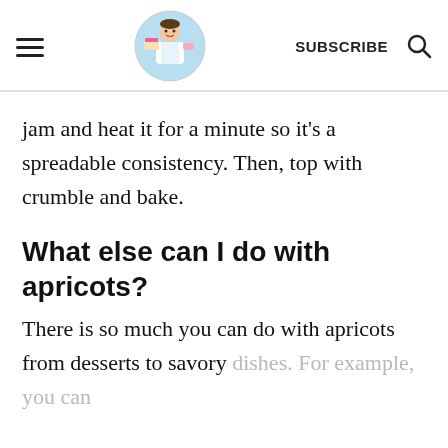SUBSCRIBE
jam and heat it for a minute so it's a spreadable consistency. Then, top with crumble and bake.
What else can I do with apricots?
There is so much you can do with apricots from desserts to savory dishes. For example, you can